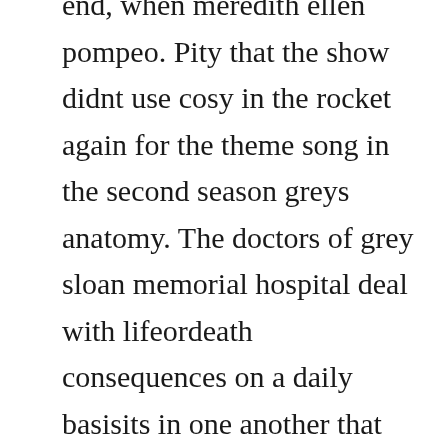end, when meredith ellen pompeo. Pity that the show didnt use cosy in the rocket again for the theme song in the second season greys anatomy. The doctors of grey sloan memorial hospital deal with lifeordeath consequences on a daily basisits in one another that they find comfort, friendship and, at times. Follows meredith grey and the team of doctors at grey sloan memorial who are faced with lifeordeath decisions on a daily basis. The greys anatomy original soundtrack is the soundtrack album series for the medical drama television series